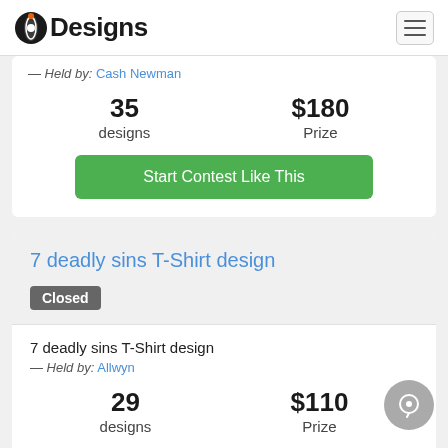Designs
— Held by: Cash Newman
35 designs
$180 Prize
Start Contest Like This
7 deadly sins T-Shirt design
Closed
7 deadly sins T-Shirt design
— Held by: Allwyn
29 designs
$110 Prize
Start Contest Like This